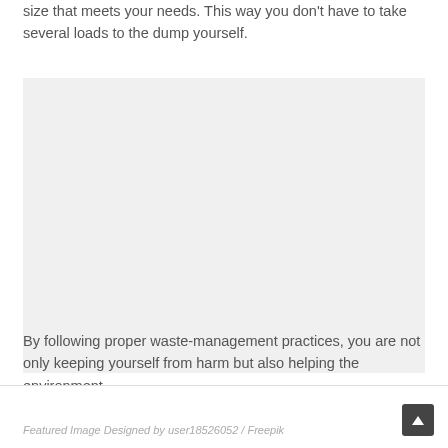size that meets your needs. This way you don't have to take several loads to the dump yourself.
[Figure (photo): Featured image placeholder area (white/light gray space representing an image)]
By following proper waste-management practices, you are not only keeping yourself from harm but also helping the environment.
Featured Image Designed by user18526052 / Freepik